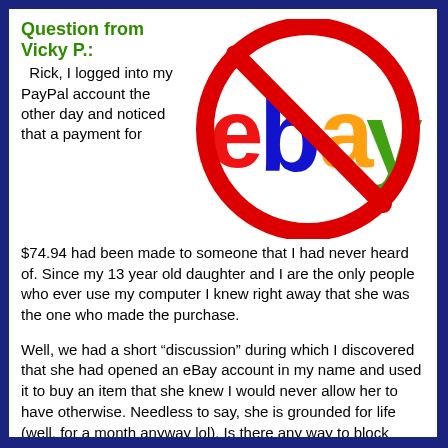Question from Vicky P.:
[Figure (illustration): eBay logo with a red prohibition circle-slash overlaid on it, indicating eBay is blocked or forbidden.]
Rick, I logged into my PayPal account the other day and noticed that a payment for $74.94 had been made to someone that I had never heard of. Since my 13 year old daughter and I are the only people who ever use my computer I knew right away that she was the one who made the purchase.
Well, we had a short “discussion” during which I discovered that she had opened an eBay account in my name and used it to buy an item that she knew I would never allow her to have otherwise. Needless to say, she is grounded for life (well, for a month anyway lol). Is there any way to block eBay so that it cannot be accessed at all on my PC?